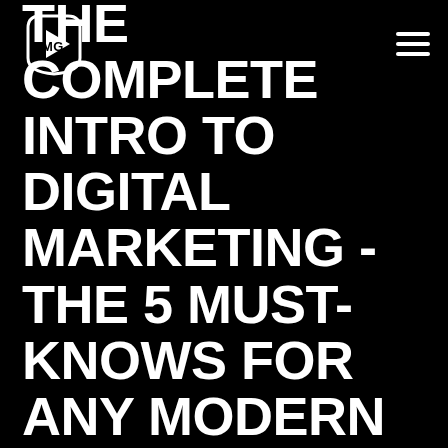KMG logo and navigation menu
THE COMPLETE INTRO TO DIGITAL MARKETING - THE 5 MUST-KNOWS FOR ANY MODERN